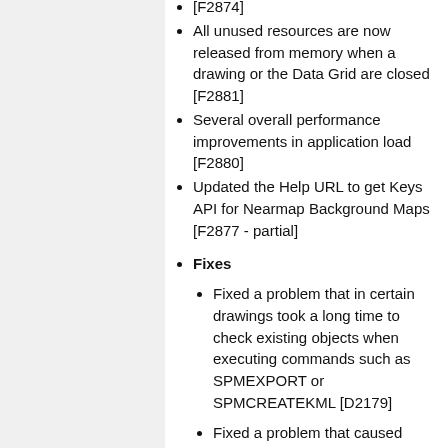All unused resources are now released from memory when a drawing or the Data Grid are closed [F2881]
Several overall performance improvements in application load [F2880]
Updated the Help URL to get Keys API for Nearmap Background Maps [F2877 - partial]
Fixes
Fixed a problem that in certain drawings took a long time to check existing objects when executing commands such as SPMEXPORT or SPMCREATEKML [D2179]
Fixed a problem that caused